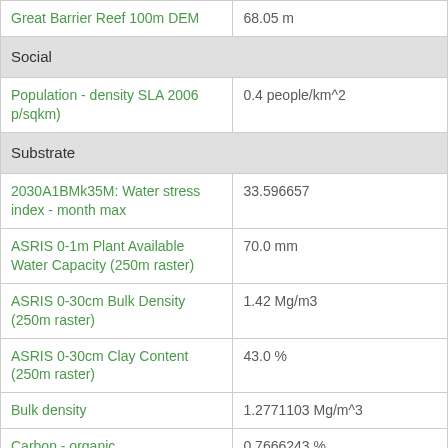| Name | Value |
| --- | --- |
| Great Barrier Reef 100m DEM | 68.05 m |
| Social |  |
| Population - density SLA 2006 p/sqkm) | 0.4 people/km^2 |
| Substrate |  |
| 2030A1BMk35M: Water stress index - month max | 33.596657 |
| ASRIS 0-1m Plant Available Water Capacity (250m raster) | 70.0 mm |
| ASRIS 0-30cm Bulk Density (250m raster) | 1.42 Mg/m3 |
| ASRIS 0-30cm Clay Content (250m raster) | 43.0 % |
| Bulk density | 1.2771103 Mg/m^3 |
| Carbon - organic | 0.7666243 % |
| Clay % | 56.664623 % |
| Hydrologic conductivity - | 0.49285716 mm/h |